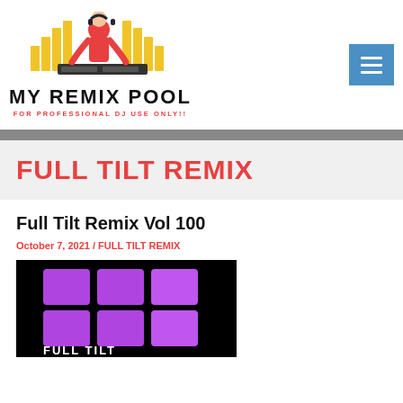[Figure (logo): My Remix Pool logo with DJ figure, equalizer bars, site title and subtitle for professional DJ use]
MY REMIX POOL
FOR PROFESSIONAL DJ USE ONLY!!
FULL TILT REMIX
Full Tilt Remix Vol 100
October 7, 2021 / FULL TILT REMIX
[Figure (photo): Full Tilt Remix Vol 100 album art - purple squares grid on black background with text]